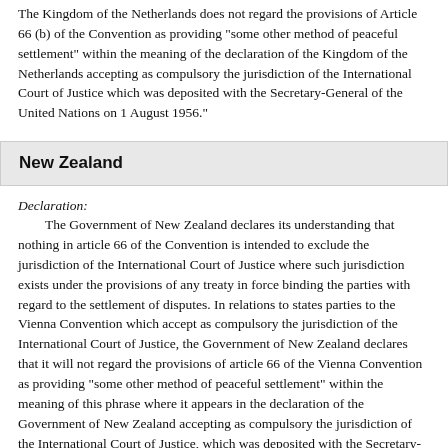The Kingdom of the Netherlands does not regard the provisions of Article 66 (b) of the Convention as providing "some other method of peaceful settlement" within the meaning of the declaration of the Kingdom of the Netherlands accepting as compulsory the jurisdiction of the International Court of Justice which was deposited with the Secretary-General of the United Nations on 1 August 1956."
New Zealand
Declaration:
The Government of New Zealand declares its understanding that nothing in article 66 of the Convention is intended to exclude the jurisdiction of the International Court of Justice where such jurisdiction exists under the provisions of any treaty in force binding the parties with regard to the settlement of disputes. In relations to states parties to the Vienna Convention which accept as compulsory the jurisdiction of the International Court of Justice, the Government of New Zealand declares that it will not regard the provisions of article 66 of the Vienna Convention as providing "some other method of peaceful settlement" within the meaning of this phrase where it appears in the declaration of the Government of New Zealand accepting as compulsory the jurisdiction of the International Court of Justice, which was deposited with the Secretary-General of the League of Nations on 8 April 1940."